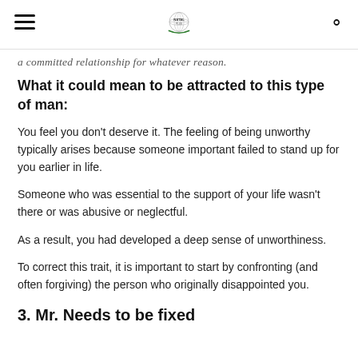[Navigation header with hamburger menu, globe logo, and search icon]
a committed relationship for whatever reason.
What it could mean to be attracted to this type of man:
You feel you don't deserve it. The feeling of being unworthy typically arises because someone important failed to stand up for you earlier in life.
Someone who was essential to the support of your life wasn't there or was abusive or neglectful.
As a result, you had developed a deep sense of unworthiness.
To correct this trait, it is important to start by confronting (and often forgiving) the person who originally disappointed you.
3. Mr. Needs to be fixed